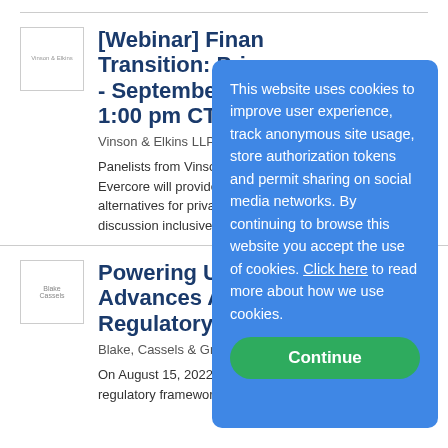[Webinar] Finan Transition: Priva - September 7th 1:00 pm CT
Vinson & Elkins LLP on 8/22
Panelists from Vinson & Elk... Evercore will provide an ov... alternatives for private capit... discussion inclusive of inve...
Powering Up: Ne Advances Alber Regulatory Fra
Blake, Cassels & Graydon L...
On August 15, 2022, a key m... regulatory framework for the development of
This website uses cookies to improve user experience, track anonymous site usage, store authorization tokens and permit sharing on social media networks. By continuing to browse this website you accept the use of cookies. Click here to read more about how we use cookies.